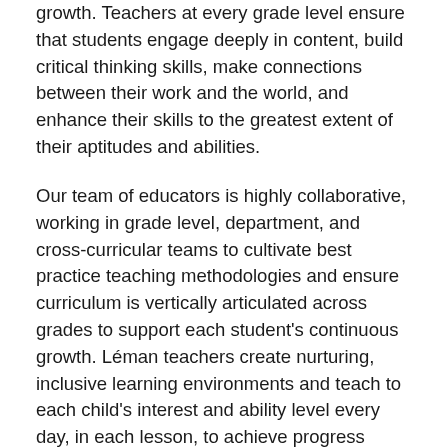growth. Teachers at every grade level ensure that students engage deeply in content, build critical thinking skills, make connections between their work and the world, and enhance their skills to the greatest extent of their aptitudes and abilities.
Our team of educators is highly collaborative, working in grade level, department, and cross-curricular teams to cultivate best practice teaching methodologies and ensure curriculum is vertically articulated across grades to support each student's continuous growth. Léman teachers create nurturing, inclusive learning environments and teach to each child's interest and ability level every day, in each lesson, to achieve progress benchmarked to individual goals.
Léman teachers are energetic professionals who care deeply about their students and their own professional growth. They participate in professional development opportunities for continuous improvement throughout the year and are committed to honing their craft to